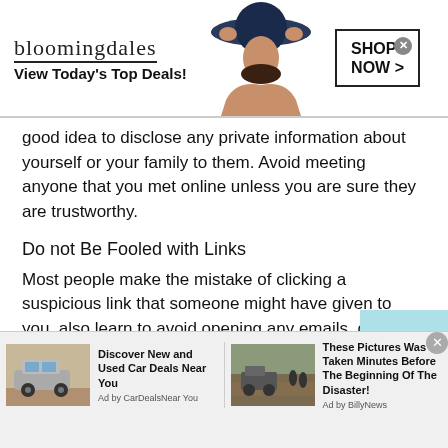[Figure (other): Bloomingdale's advertisement banner with logo, model wearing hat, 'View Today's Top Deals!' tagline, and 'SHOP NOW >' button]
good idea to disclose any private information about yourself or your family to them. Avoid meeting anyone that you met online unless you are sure they are trustworthy.
Do not Be Fooled with Links
Most people make the mistake of clicking a suspicious link that someone might have given to you. also learn to avoid opening any emails, or ads that you have received from someone you do not know or someone who appea
[Figure (other): Bottom advertisement bar with two ads: 'Discover New and Used Car Deals Near You' by CarDealsNearYou, and 'These Pictures Was Taken Minutes Before The Beginning Of The Disaster!' by BillyNews]